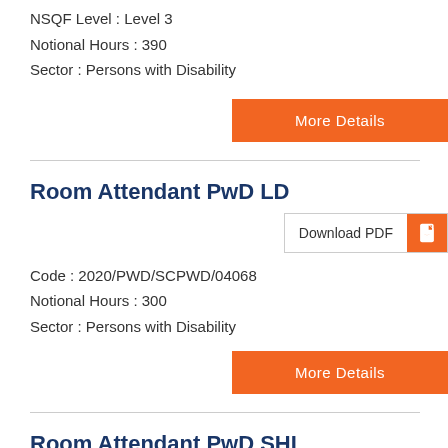NSQF Level : Level 3
Notional Hours : 390
Sector : Persons with Disability
More Details
Room Attendant PwD LD
Download PDF
Code : 2020/PWD/SCPWD/04068
Notional Hours : 300
Sector : Persons with Disability
More Details
Room Attendant PwD SHI
Download PDF